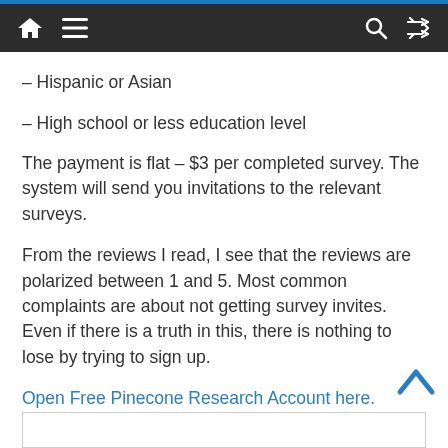Navigation bar with home, menu, search, and shuffle icons
– Hispanic or Asian
– High school or less education level
The payment is flat – $3 per completed survey. The system will send you invitations to the relevant surveys.
From the reviews I read, I see that the reviews are polarized between 1 and 5. Most common complaints are about not getting survey invites. Even if there is a truth in this, there is nothing to lose by trying to sign up.
Open Free Pinecone Research Account here.